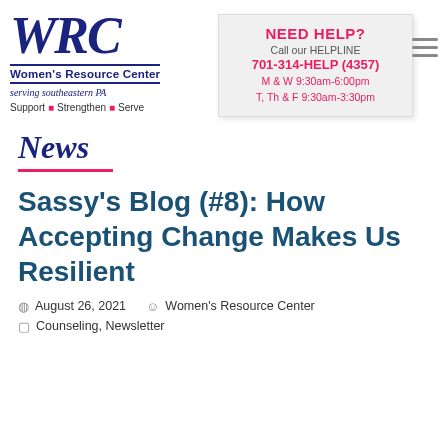[Figure (logo): Women's Resource Center logo with WRC in cursive blue letters, organization name, serving southeastern PA tagline, and Support Strengthen Serve motto]
NEED HELP? Call our HELPLINE 701-314-HELP (4357) M & W 9:30am-6:00pm T, Th & F 9:30am-3:30pm
News
Sassy's Blog (#8): How Accepting Change Makes Us Resilient
August 26, 2021   Women's Resource Center
Counseling, Newsletter